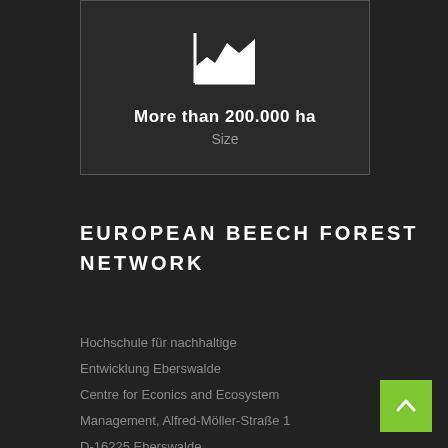[Figure (infographic): White area/mountain chart icon on dark card background]
More than 200.000 ha
Size
EUROPEAN BEECH FOREST NETWORK
Hochschule für nachhaltige Entwicklung Eberswalde Centre for Econics and Ecosystem Management, Alfred-Möller-Straße 1 D-16225 Eberswalde.